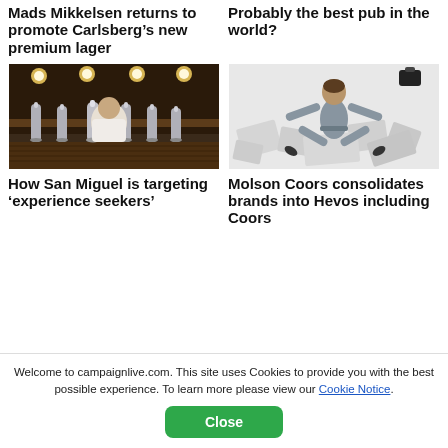Mads Mikkelsen returns to promote Carlsberg’s new premium lager
Probably the best pub in the world?
[Figure (photo): Bartender standing behind several beer taps in a dimly lit pub, illuminated by warm lights]
[Figure (photo): Person in grey overalls lying spread-eagled on a white surface surrounded by scattered papers or fabric]
How San Miguel is targeting ‘experience seekers’
Molson Coors consolidates brands into Hevos including Coors
Welcome to campaignlive.com. This site uses Cookies to provide you with the best possible experience. To learn more please view our Cookie Notice.
Close